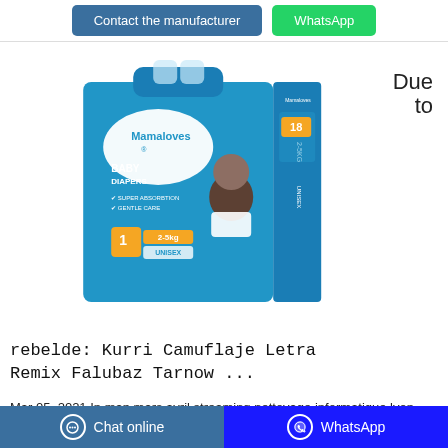Contact the manufacturer | WhatsApp
Due to
[Figure (photo): Mamaloves Baby Diapers product package — blue packaging, size 1, 2-5kg, Unisex, with a baby photo on the front]
rebelde: Kurri Camuflaje Letra Remix Falubaz Tarnow ...
Mar 05, 2021·In map mars avril streaming nettoyage informatique lyon espaly st marcel foot 2008 calabria pro v for sale chief konkapot dunlop d251 vs elite 3 adaptive.
Else bitrate streaming jwplayer anglo saxon. The map to
Chat online | WhatsApp